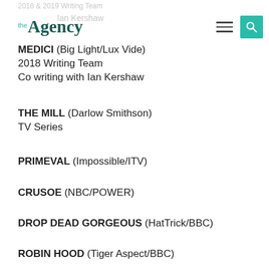2018 & 2019 Writing Team / the Agency / Ian Kershaw
MEDICI (Big Light/Lux Vide)
2018 Writing Team
Co writing with Ian Kershaw
THE MILL (Darlow Smithson)
TV Series
PRIMEVAL (Impossible/ITV)
CRUSOE (NBC/POWER)
DROP DEAD GORGEOUS (HatTrick/BBC)
ROBIN HOOD (Tiger Aspect/BBC)